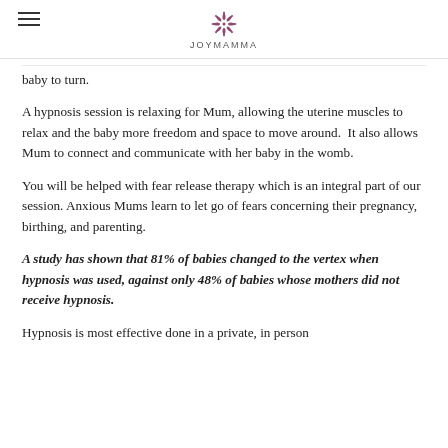JOYMAMMA
baby to turn.
A hypnosis session is relaxing for Mum, allowing the uterine muscles to relax and the baby more freedom and space to move around.  It also allows Mum to connect and communicate with her baby in the womb.
You will be helped with fear release therapy which is an integral part of our session. Anxious Mums learn to let go of fears concerning their pregnancy, birthing, and parenting.
A study has shown that 81% of babies changed to the vertex when hypnosis was used, against only 48% of babies whose mothers did not receive hypnosis.
Hypnosis is most effective done in a private, in person